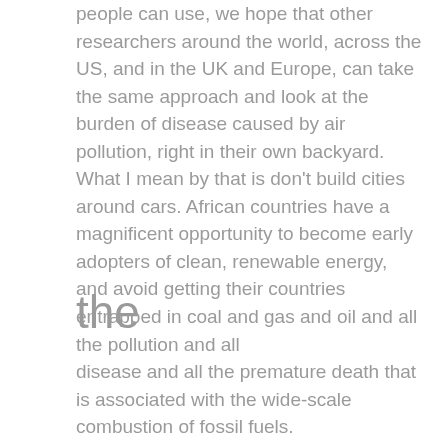people can use, we hope that other researchers around the world, across the US, and in the UK and Europe, can take the same approach and look at the burden of disease caused by air pollution, right in their own backyard. What I mean by that is don't build cities around cars. African countries have a magnificent opportunity to become early adopters of clean, renewable energy, and avoid getting their countries entrapped in coal and gas and oil and all the pollution and all
the
disease and all the premature death that is associated with the wide-scale combustion of fossil fuels.
The medical follow-up of 22,000 first responders - firefighters, police officers, paramedics, construction workers, and volunteers ◆ who had served at the site of the World Trade Center disaster. Children are more